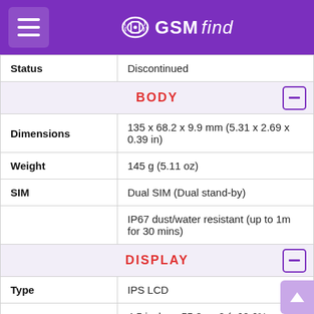GSMfind
| Status | Discontinued |
| BODY |  |
| Dimensions | 135 x 68.2 x 9.9 mm (5.31 x 2.69 x 0.39 in) |
| Weight | 145 g (5.11 oz) |
| SIM | Dual SIM (Dual stand-by) |
|  | IP67 dust/water resistant (up to 1m for 30 mins) |
| DISPLAY |  |
| Type | IPS LCD |
| Size | 4.5 inches, 55.8 cm2 (~60.6% screen-to-body ratio) |